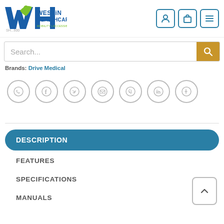[Figure (logo): Westin Healthcare logo — blue and green W+H letter mark with text WESTIN HEALTHCARE, MOBILITY | ACCESSIBILITY | REHAB]
[Figure (screenshot): Header navigation icons: user/account icon, shopping bag icon, hamburger menu icon — all in teal blue rounded rectangle buttons]
[Figure (screenshot): Search bar with placeholder 'Search...' and orange search button with magnifying glass icon]
Brands: Drive Medical
[Figure (screenshot): Row of 7 social sharing circular icon buttons: WhatsApp, Facebook, Twitter, Email, Pinterest, LinkedIn, Tumblr]
DESCRIPTION
FEATURES
SPECIFICATIONS
MANUALS